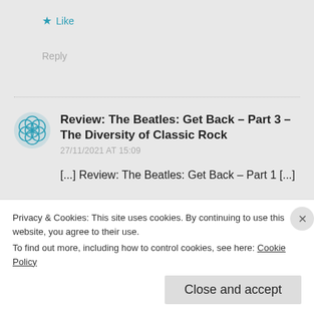★ Like
Reply
Review: The Beatles: Get Back – Part 3 – The Diversity of Classic Rock
27/11/2021 AT 15:09
[...] Review: The Beatles: Get Back – Part 1 [...]
★ Like
Privacy & Cookies: This site uses cookies. By continuing to use this website, you agree to their use. To find out more, including how to control cookies, see here: Cookie Policy
Close and accept